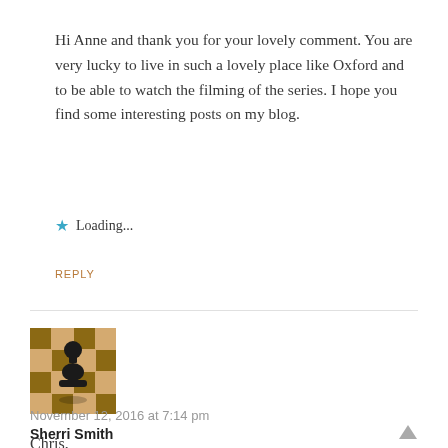Hi Anne and thank you for your lovely comment. You are very lucky to live in such a lovely place like Oxford and to be able to watch the filming of the series. I hope you find some interesting posts on my blog.
★ Loading...
REPLY
[Figure (photo): Avatar image showing a black chess pawn piece on a chessboard]
Sherri Smith
November 12, 2016 at 7:14 pm
Chris,